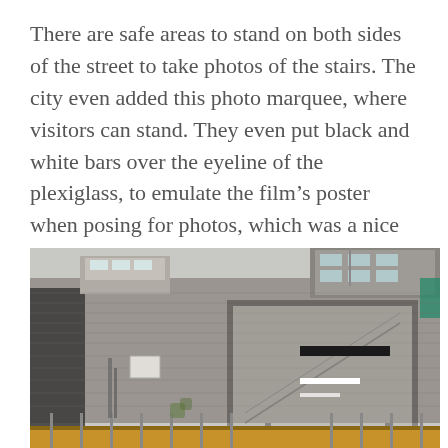There are safe areas to stand on both sides of the street to take photos of the stairs. The city even added this photo marquee, where visitors can stand. They even put black and white bars over the eyeline of the plexiglass, to emulate the film’s poster when posing for photos, which was a nice touch. It’s always great to see a city embrace their filming locations and this is definitely a highly recommended spot for fans of the film.
[Figure (photo): Photograph of a stone brick wall with stairs visible, and a plexiglass photo marquee frame in the foreground with black and white bars. Buildings with modern architecture visible at the top. Wooden railing structure at the bottom.]